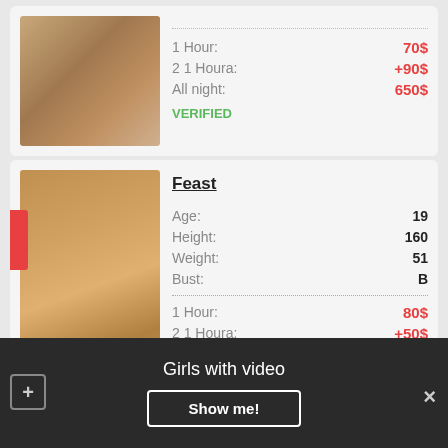[Figure (photo): Top card profile photo of a blonde woman]
1 Hour: 70$
2 1 Houra: +90$
All night: 650$
VERIFIED
[Figure (photo): Bottom card profile photo of a blonde woman in a shower]
Feast
Age: 19
Height: 160
Weight: 51
Bust: B
1 Hour: 80$
2 1 Houra: +50$
Girls with video
Show me!